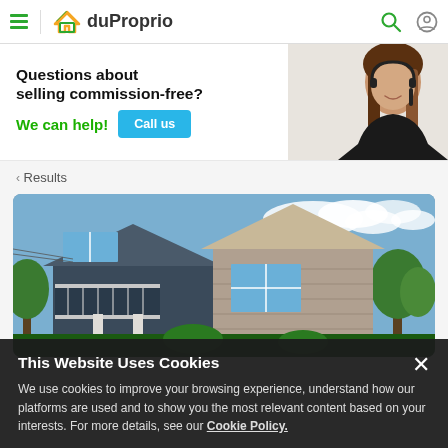duProprio — navigation header with hamburger menu, logo, search and user icons
[Figure (photo): Promotional banner: 'Questions about selling commission-free? We can help! Call us' with photo of woman wearing headset]
< Results
[Figure (photo): Exterior photo of a two-storey residential property with dark siding, stone accents, balcony, and trees, under a partly cloudy blue sky]
This Website Uses Cookies
We use cookies to improve your browsing experience, understand how our platforms are used and to show you the most relevant content based on your interests. For more details, see our Cookie Policy.